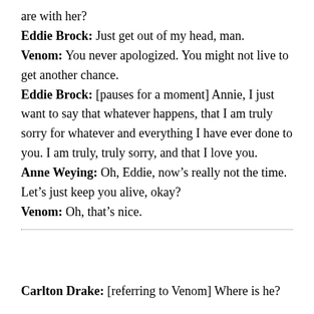are with her?
Eddie Brock: Just get out of my head, man.
Venom: You never apologized. You might not live to get another chance.
Eddie Brock: [pauses for a moment] Annie, I just want to say that whatever happens, that I am truly sorry for whatever and everything I have ever done to you. I am truly, truly sorry, and that I love you.
Anne Weying: Oh, Eddie, now’s really not the time. Let’s just keep you alive, okay?
Venom: Oh, that’s nice.
Carlton Drake: [referring to Venom] Where is he?